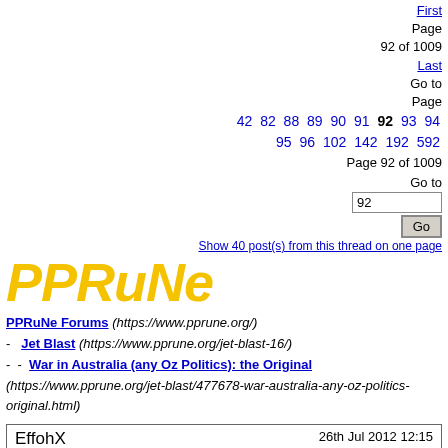First
Page
92 of 1009
Last
Go to
Page
42 82 88 89 90 91 92 93 94 95 96 102 142 192 592
Page 92 of 1009
Go to
[input: 92] [Go]
Show 40 post(s) from this thread on one page
[Figure (logo): PPRuNe logo in large italic bold yellow text]
PPRuNe Forums (https://www.pprune.org/)
- Jet Blast (https://www.pprune.org/jet-blast-16/)
- - War in Australia (any Oz Politics): the Original (https://www.pprune.org/jet-blast/477678-war-australia-any-oz-politics-original.html)
EffohX
26th Jul 2012 12:15
Things are going swimmingly for Australia under Ms Gillard's guiding hand - 800+ jobs to be lost in 2014 as the Caltex Kurnell refinery will shut down, and in Victoria, LTQ (co-owned by Qantas and Lufthansa) closes a jet maintenance facility. Another 164 jobs gone.

Surely there are serious Defence and national security implications